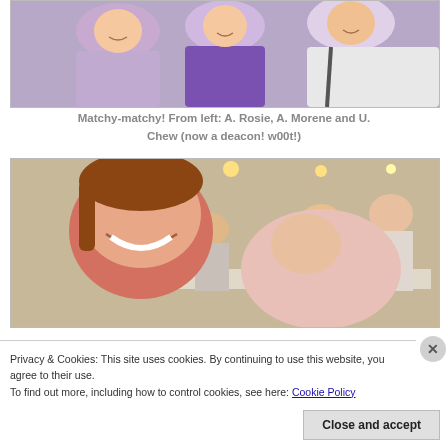[Figure (photo): Photo of three people posing together. From left: a woman in a light purple/lavender cardigan, a woman in a purple sleeveless top, and a man in a white shirt with a bag strap. They are smiling at the camera.]
Matchy-matchy! From left: A. Rosie, A. Morene and U. Chew (now a deacon! w00t!)
[Figure (photo): Close-up photo of a woman with brown hair, wearing a red top, smiling and looking at camera. In the background, several people are seated at a table in what appears to be a restaurant or food court setting.]
Privacy & Cookies: This site uses cookies. By continuing to use this website, you agree to their use.
To find out more, including how to control cookies, see here: Cookie Policy
Close and accept